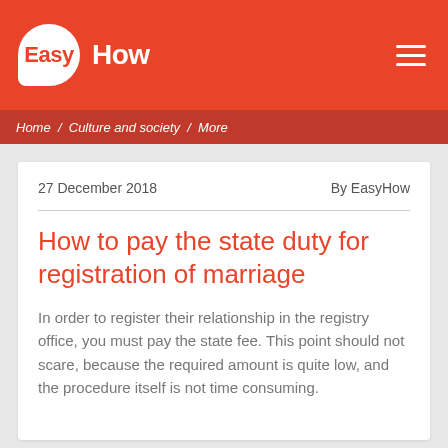EasyHow
Home / Culture and society / More
27 December 2018   By EasyHow
How to pay the state duty for registration of marriage
In order to register their relationship in the registry office, you must pay the state fee. This point should not scare, because the required amount is quite low, and the procedure itself is not time consuming.